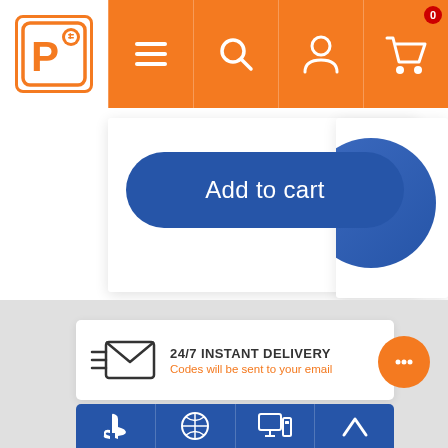[Figure (screenshot): E-commerce website screenshot showing navigation bar with orange background, hamburger menu, search, account, and cart icons. Below is an 'Add to cart' button in blue, a partial blue circle on the right, a gray section with a '24/7 INSTANT DELIVERY - Codes will be sent to your email' info box with envelope icon, an orange chat bubble, and a blue bottom navigation bar with PlayStation, Xbox, PC, and arrow icons.]